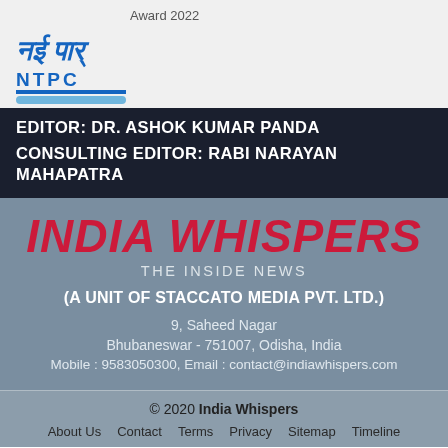Award 2022
[Figure (logo): NTPC logo with Hindi text and blue stylized design]
EDITOR: DR. ASHOK KUMAR PANDA
CONSULTING EDITOR: RABI NARAYAN MAHAPATRA
INDIA WHISPERS
THE INSIDE NEWS
(A UNIT OF STACCATO MEDIA PVT. LTD.)
9, Saheed Nagar
Bhubaneswar - 751007, Odisha, India
Mobile : 9583050300, Email : contact@indiawhispers.com
© 2020 India Whispers
About Us  Contact  Terms  Privacy  Sitemap  Timeline